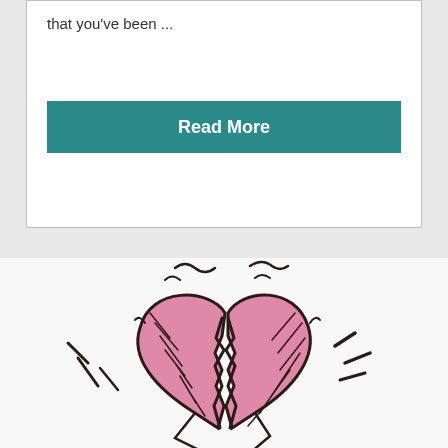that you've been ...
Read More
[Figure (illustration): Hand-drawn illustration of a broken heart in pink and dark maroon/black marker strokes, with motion lines on the sides suggesting the heart has just cracked apart. The two halves are separated with jagged edges in the center.]